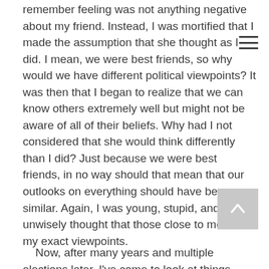remember feeling was not anything negative about my friend. Instead, I was mortified that I made the assumption that she thought as I did. I mean, we were best friends, so why would we have different political viewpoints? It was then that I began to realize that we can know others extremely well but might not be aware of all of their beliefs. Why had I not considered that she would think differently than I did? Just because we were best friends, in no way should that mean that our outlooks on everything should have been similar. Again, I was young, stupid, and unwisely thought that those close to me held my exact viewpoints.
Now, after many years and multiple elections later, I've come to look at things differently. What if instead of polarizing from